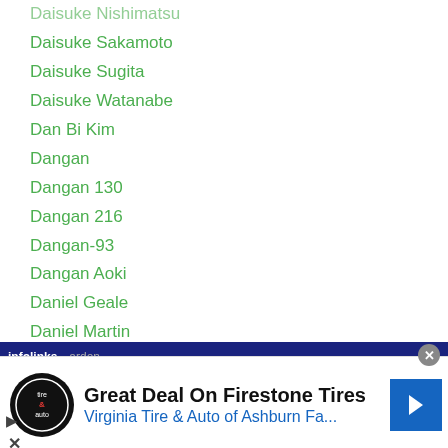Daisuke Nishimatsu
Daisuke Sakamoto
Daisuke Sugita
Daisuke Watanabe
Dan Bi Kim
Dangan
Dangan 130
Dangan 216
Dangan-93
Dangan Aoki
Daniel Geale
Daniel Martin
Daniel-ponce-de-leon
Danila Semenov
Daniyar Yeleussinov
Danrick Sumabong
...ardon
[Figure (screenshot): Advertisement banner: Great Deal On Firestone Tires - Virginia Tire & Auto of Ashburn Fa... with infolinks label and close button]